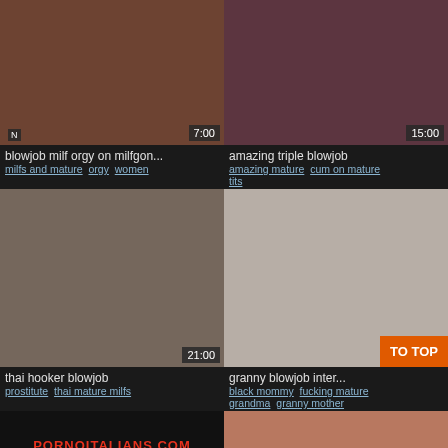[Figure (photo): Thumbnail: blowjob milf orgy on milfgon... with duration 7:00]
blowjob milf orgy on milfgon...
milfs and mature · orgy · women
[Figure (photo): Thumbnail: amazing triple blowjob with duration 15:00]
amazing triple blowjob
amazing mature · cum on mature tits
[Figure (photo): Thumbnail: thai hooker blowjob with duration 21:00]
thai hooker blowjob
prostitute · thai mature milfs
[Figure (photo): Thumbnail: granny blowjob inter... with TO TOP button overlay]
granny blowjob inter...
black mommy · fucking mature grandma · granny mother
[Figure (photo): Bottom left thumbnail: PORNOITALIANS.COM text visible]
[Figure (photo): Bottom right thumbnail: partial image]